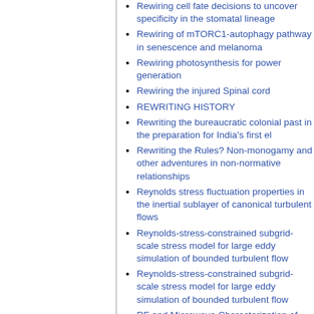Rewiring cell fate decisions to uncover specificity in the stomatal lineage
Rewiring of mTORC1-autophagy pathway in senescence and melanoma
Rewiring photosynthesis for power generation
Rewiring the injured Spinal cord
REWRITING HISTORY
Rewriting the bureaucratic colonial past in the preparation for India's first el
Rewriting the Rules? Non-monogamy and other adventures in non-normative relationships
Reynolds stress fluctuation properties in the inertial sublayer of canonical turbulent flows
Reynolds-stress-constrained subgrid-scale stress model for large eddy simulation of bounded turbulent flow
Reynolds-stress-constrained subgrid-scale stress model for large eddy simulation of bounded turbulent flow
RF and Microwave Characterization of Carbon Nanotubes and Graphene
Rfam 13.0: The genome-centric se...